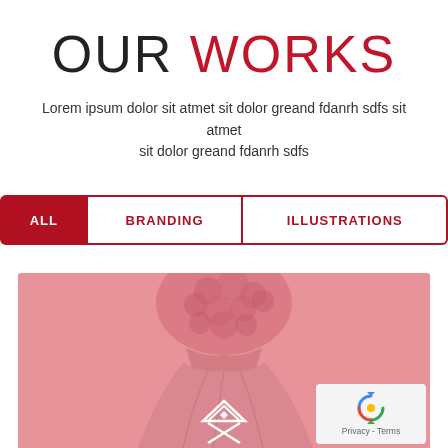OUR WORKS
Lorem ipsum dolor sit atmet sit dolor greand fdanrh sdfs sit atmet sit dolor greand fdanrh sdfs
ALL
BRANDING
ILLUSTRATIONS
[Figure (photo): Pink background with a pink/rose-colored strapless dress with floral lace bodice detail and a white geometric house/arrow logo overlay at bottom center]